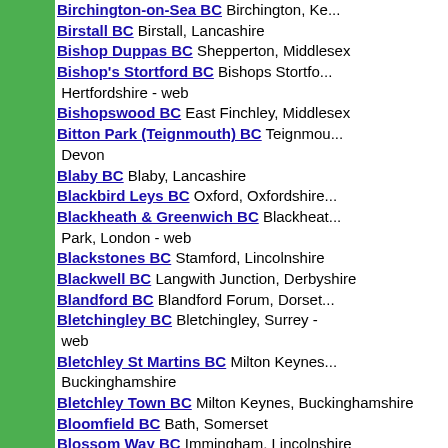Birchington-on-Sea BC  Birchington, Ke...
Birstall BC  Birstall, Lancashire
Bishop Duppas BC  Shepperton, Middlesex
Bishop's Stortford BC  Bishops Stortford, Hertfordshire - web
Bishopswood BC  East Finchley, Middlesex
Bitton Park (Teignmouth) BC  Teignmouth, Devon
Blaby BC  Blaby, Lancashire
Blackbird Leys BC  Oxford, Oxfordshire
Blackheath & Greenwich BC  Blackheath Park, London - web
Blackstones BC  Stamford, Lincolnshire
Blackwell BC  Langwith Junction, Derbyshire
Blandford BC  Blandford Forum, Dorset
Bletchingley BC  Bletchingley, Surrey - web
Bletchley St Martins BC  Milton Keynes, Buckinghamshire
Bletchley Town BC  Milton Keynes, Buckinghamshire
Bloomfield BC  Bath, Somerset
Blossom Way BC  Immingham, Lincolnshire
Blossomfield BC  Solihull, West Midlands
Bloxham BC  Bloxham, Oxfordshire - web
Blue Circle (Westbury) BC  Westbury, Wiltshire
Bocking Alliance BC  Braintree, Essex
Bodenham BC  Bodenham, Herefordshire